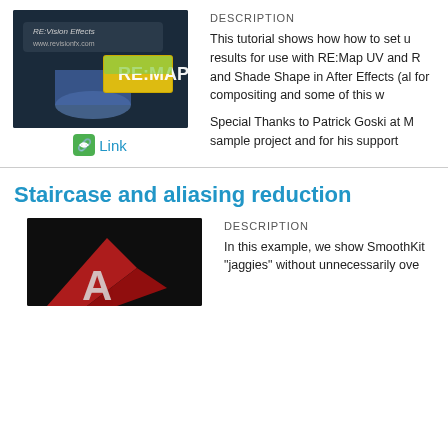[Figure (photo): 3D render showing RE:Vision Effects logo and RE:Map product label on a curved surface]
[Figure (logo): Green chain link icon next to blue 'Link' text]
DESCRIPTION
This tutorial shows how how to set u results for use with RE:Map UV and R and Shade Shape in After Effects (al for compositing and some of this w
Special Thanks to Patrick Goski at M sample project and for his support
Staircase and aliasing reduction
DESCRIPTION
[Figure (photo): Close-up photo of a dark surface with red and white graphic elements]
In this example, we show SmoothKit "jaggies" without unnecessarily ove